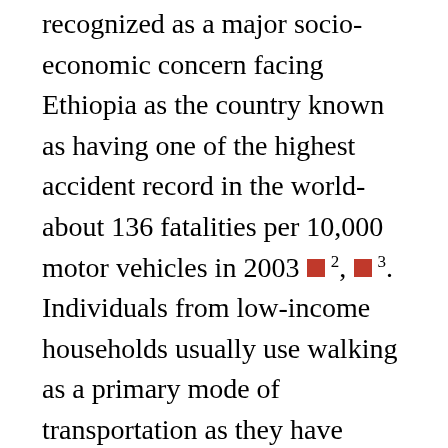recognized as a major socio-economic concern facing Ethiopia as the country known as having one of the highest accident record in the world-about 136 fatalities per 10,000 motor vehicles in 2003 [2, 3]. Individuals from low-income households usually use walking as a primary mode of transportation as they have financial constraints that prevent them from better alternative modes of transportation, and spend more time along the roadway and crossing roadways to access properties [4]. This implies greater exposure to pedestrian crash risk, which is borne out in crash statistics. As a result failure to give way for pedestrian in combination to speeding accounted for 40% of